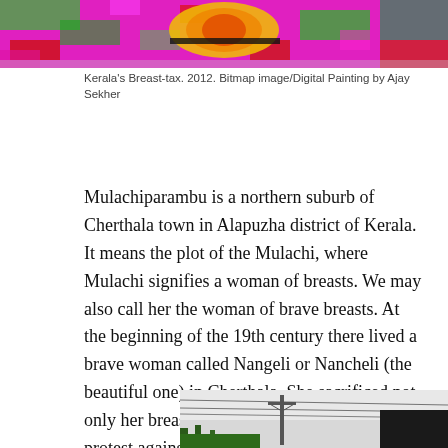[Figure (photo): A colorful bitmap/digital painting with bright magenta, green, red, yellow colors — Kerala's Breast-tax artwork by Ajay Sekher]
Kerala's Breast-tax. 2012. Bitmap image/Digital Painting by Ajay Sekher
Mulachiparambu is a northern suburb of Cherthala town in Alapuzha district of Kerala. It means the plot of the Mulachi, where Mulachi signifies a woman of breasts. We may also call her the woman of brave breasts. At the beginning of the 19th century there lived a brave woman called Nangeli or Nancheli (the beautiful one) in Cherthala. She sacrificed not only her breasts but her precious life itself in protest against the inhuman breast-tax of Travancore that formed the southern part of Kerala in the 19th and early 20th centuries.
[Figure (photo): A photograph showing an outdoor scene with power lines, a utility pole, overcast sky, palm trees and a dark building roof edge — likely in Kerala, India]